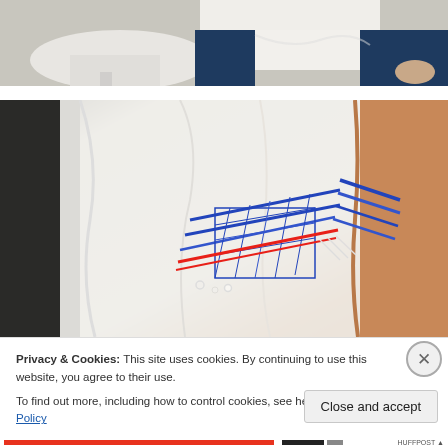[Figure (photo): Partial view of a person wearing a white blouse and dark blue jeans, with a white round table visible in the background]
[Figure (photo): Close-up of a white garment with colorful embroidery/decorative stitching in blue, red, and other colors]
Privacy & Cookies: This site uses cookies. By continuing to use this website, you agree to their use.
To find out more, including how to control cookies, see here: Cookie Policy
Close and accept